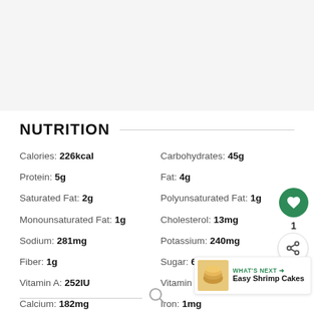NUTRITION
| Nutrient | Value | Nutrient | Value |
| --- | --- | --- | --- |
| Calories: | 226kcal | Carbohydrates: | 45g |
| Protein: | 5g | Fat: | 4g |
| Saturated Fat: | 2g | Polyunsaturated Fat: | 1g |
| Monounsaturated Fat: | 1g | Cholesterol: | 13mg |
| Sodium: | 281mg | Potassium: | 240mg |
| Fiber: | 1g | Sugar: | 6g |
| Vitamin A: | 252IU | Vitamin C: | 1mg |
| Calcium: | 182mg | Iron: | 1mg |